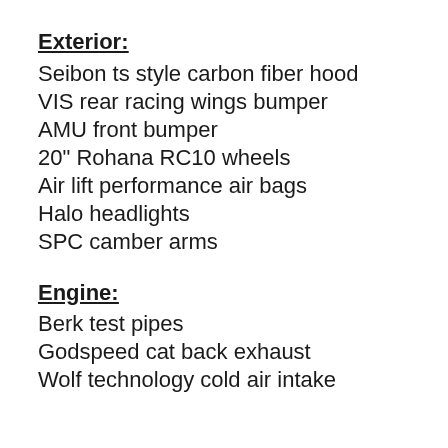Exterior:
Seibon ts style carbon fiber hood
VIS rear racing wings bumper
AMU front bumper
20" Rohana RC10 wheels
Air lift performance air bags
Halo headlights
SPC camber arms
Engine:
Berk test pipes
Godspeed cat back exhaust
Wolf technology cold air intake